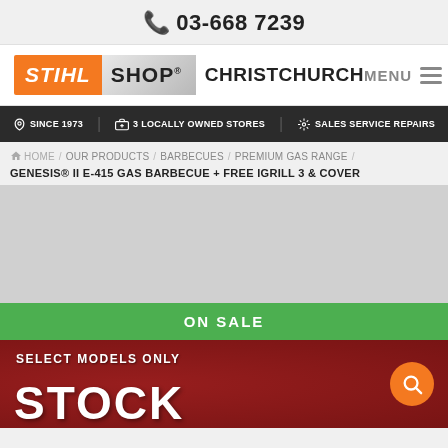📞 03-668 7239
[Figure (logo): STIHL SHOP Christchurch logo with orange STIHL badge and grey SHOP text]
MENU
✓ SINCE 1973   🏠 3 LOCALLY OWNED STORES   ⚙ SALES SERVICE REPAIRS
HOME / OUR PRODUCTS / BARBECUES / PREMIUM GAS RANGE /
GENESIS® II E-415 GAS BARBECUE + FREE IGRILL 3 & COVER
[Figure (photo): Grey product image placeholder area]
ON SALE
[Figure (photo): Red promotional banner with text: SELECT MODELS ONLY STOCK and a search icon button]